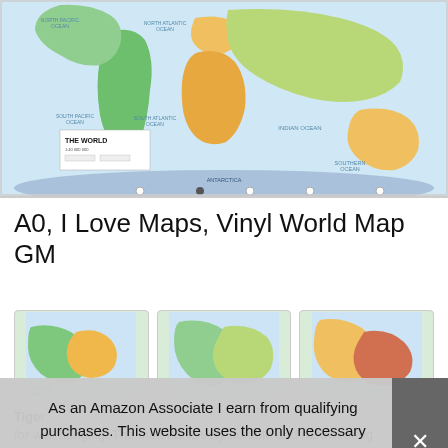[Figure (map): World political map showing continents and oceans labeled, with colorful countries. Title reads 'THE WORLD'. Antarctica visible at bottom. Carousel dot indicators visible at bottom.]
A0, I Love Maps, Vinyl World Map GM
[Figure (map): Three map thumbnail images showing regional views of the world map product.]
Tiger
for wall hanging. The material is very durable and hardwearing
As an Amazon Associate I earn from qualifying purchases. This website uses the only necessary cookies to ensure you get the best experience on our website. More information